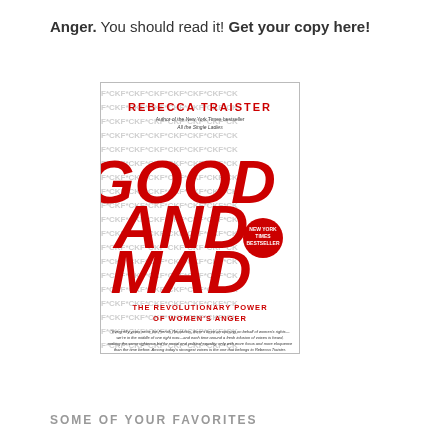Anger. You should read it! Get your copy here!
[Figure (illustration): Book cover of 'Good and Mad: The Revolutionary Power of Women's Anger' by Rebecca Traister. Red and white cover with repeating F*CK pattern in background. Bold red title text. New York Times Bestseller badge. Subtitle: THE REVOLUTIONARY POWER OF WOMEN'S ANGER. Quote by Vivian Gornick at bottom.]
SOME OF YOUR FAVORITES